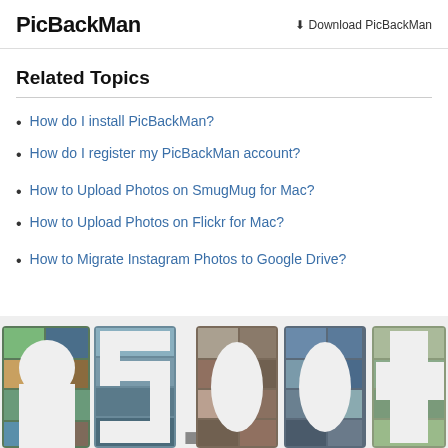PicBackMan | Download PicBackMan
Related Topics
How do I install PicBackMan?
How do I register my PicBackMan account?
How to Upload Photos on SmugMug for Mac?
How to Upload Photos on Flickr for Mac?
How to Migrate Instagram Photos to Google Drive?
[Figure (infographic): Large decorative banner showing '95,000+' text filled with photo collages of people, on a light grey background]